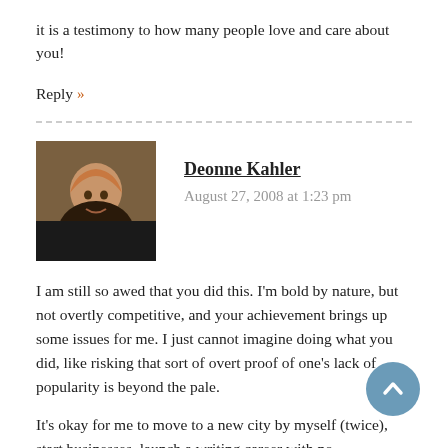it is a testimony to how many people love and care about you!
Reply »
Deonne Kahler
August 27, 2008 at 1:23 pm
I am still so awed that you did this. I'm bold by nature, but not overtly competitive, and your achievement brings up some issues for me. I just cannot imagine doing what you did, like risking that sort of overt proof of one's lack of popularity is beyond the pale.
It's okay for me to move to a new city by myself (twice), start businesses, launch a writing career with no